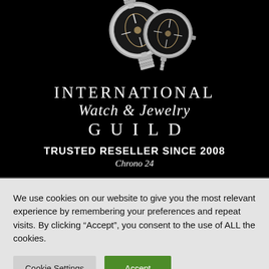[Figure (photo): Two luxury skeleton watches with metal mesh bracelets on a black background]
INTERNATIONAL Watch & Jewelry GUILD
TRUSTED RESELLER SINCE 2008
Chrono 24
We use cookies on our website to give you the most relevant experience by remembering your preferences and repeat visits. By clicking “Accept”, you consent to the use of ALL the cookies.
Cookie Settings | Accept